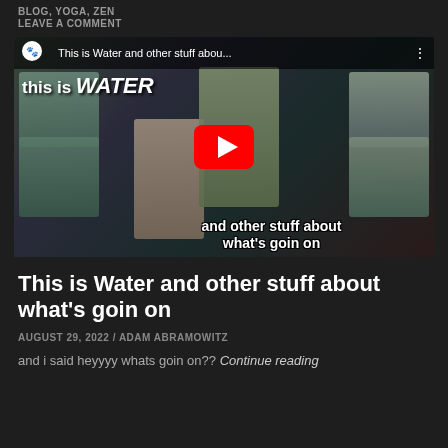BLOG, YOGA, ZEN
LEAVE A COMMENT
[Figure (screenshot): YouTube video thumbnail for 'This is Water and other stuff about what's goin on' showing multiple people and a YouTube play button in the center]
This is Water and other stuff about what's goin on
AUGUST 29, 2022 / ADAM ABRAMOWITZ
and i said heyyyy whats goin on?? Continue reading